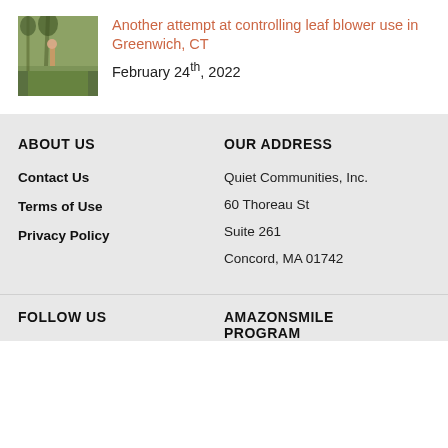[Figure (photo): Thumbnail photo of a person using a leaf blower in a grassy park area with trees]
Another attempt at controlling leaf blower use in Greenwich, CT
February 24th, 2022
ABOUT US
OUR ADDRESS
Contact Us
Terms of Use
Privacy Policy
Quiet Communities, Inc.
60 Thoreau St
Suite 261
Concord, MA 01742
FOLLOW US
AMAZONSMILE PROGRAM